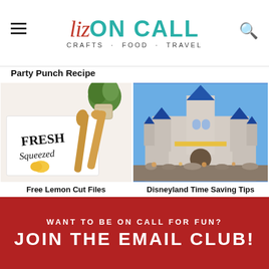Liz ON CALL - CRAFTS · FOOD · TRAVEL
Party Punch Recipe
[Figure (photo): A white kitchen towel printed with 'Fresh Squeezed' and a lemon graphic, alongside two wooden spoons and a small potted plant on a white background.]
Free Lemon Cut Files
[Figure (photo): Disneyland castle with blue spires under a clear sky, crowds of visitors in front.]
Disneyland Time Saving Tips
WANT TO BE ON CALL FOR FUN?
JOIN THE EMAIL CLUB!